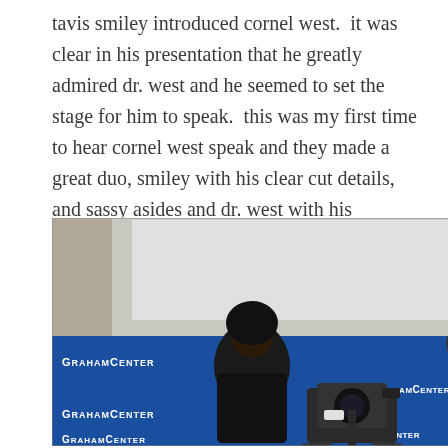tavis smiley introduced cornel west.  it was clear in his presentation that he greatly admired dr. west and he seemed to set the stage for him to speak.  this was my first time to hear cornel west speak and they made a great duo, smiley with his clear cut details, and sassy asides and dr. west with his theatrical way of speaking.
[Figure (photo): A photograph taken at the Graham Center showing a person in dark clothing standing near a camera on a tripod, with a blue banner in the background displaying the 'GRAHAMCENTER' logo repeated. A projection screen is visible in the upper portion of the image.]